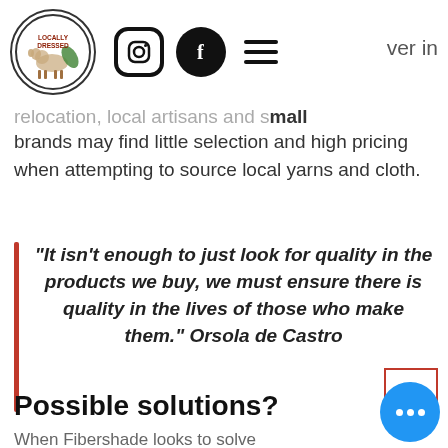Locally Dressed — navigation bar with logo, Instagram, Facebook, hamburger menu icons
relocation, local artisans and small brands may find little selection and high pricing when attempting to source local yarns and cloth.
"It isn't enough to just look for quality in the products we buy, we must ensure there is quality in the lives of those who make them." Orsola de Castro
Possible solutions?
When Fibershade looks to solve